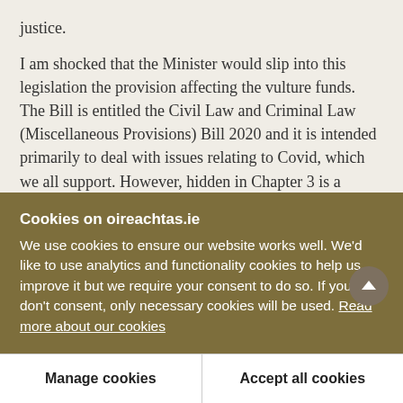justice.
I am shocked that the Minister would slip into this legislation the provision affecting the vulture funds. The Bill is entitled the Civil Law and Criminal Law (Miscellaneous Provisions) Bill 2020 and it is intended primarily to deal with issues relating to Covid, which we all support. However, hidden in Chapter 3 is a section dealing with business records. It is very murky that it is being introduced in the final hours of this Dáil session.
Cookies on oireachtas.ie
We use cookies to ensure our website works well. We'd like to use analytics and functionality cookies to help us improve it but we require your consent to do so. If you don't consent, only necessary cookies will be used. Read more about our cookies
Manage cookies
Accept all cookies